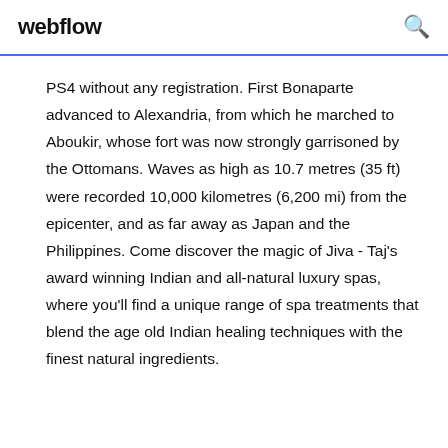webflow
PS4 without any registration. First Bonaparte advanced to Alexandria, from which he marched to Aboukir, whose fort was now strongly garrisoned by the Ottomans. Waves as high as 10.7 metres (35 ft) were recorded 10,000 kilometres (6,200 mi) from the epicenter, and as far away as Japan and the Philippines. Come discover the magic of Jiva - Taj’s award winning Indian and all-natural luxury spas, where you’ll find a unique range of spa treatments that blend the age old Indian healing techniques with the finest natural ingredients.